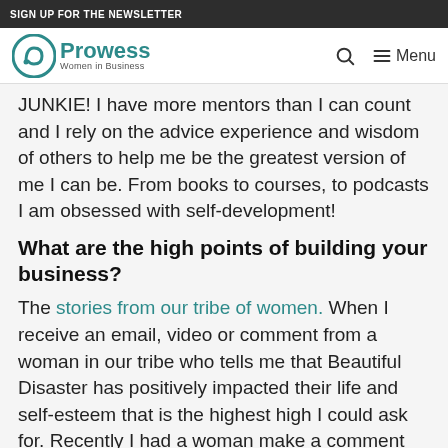SIGN UP FOR THE NEWSLETTER
Prowess Women in Business — Menu
JUNKIE! I have more mentors than I can count and I rely on the advice experience and wisdom of others to help me be the greatest version of me I can be. From books to courses, to podcasts I am obsessed with self-development!
What are the high points of building your business?
The stories from our tribe of women. When I receive an email, video or comment from a woman in our tribe who tells me that Beautiful Disaster has positively impacted their life and self-esteem that is the highest high I could ask for. Recently I had a woman make a comment